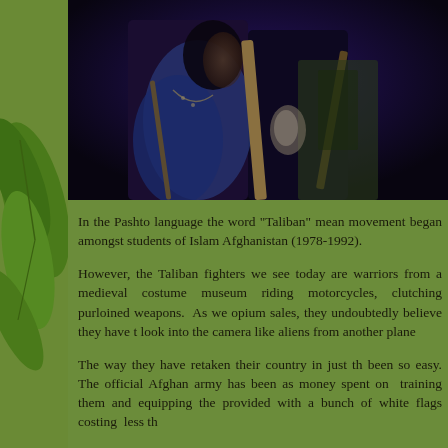[Figure (photo): Dark photograph showing Taliban fighters, partially visible figures with weapons and equipment against a dark background]
In the Pashto language the word "Taliban" means movement began amongst students of Islam Afghanistan (1978-1992).
However, the Taliban fighters we see today are warriors from a medieval costume museum riding motorcycles, clutching purloined weapons. As we opium sales, they undoubtedly believe they have t look into the camera like aliens from another plane
The way they have retaken their country in just th been so easy. The official Afghan army has been as money spent on training them and equipping the provided with a bunch of white flags costing less th